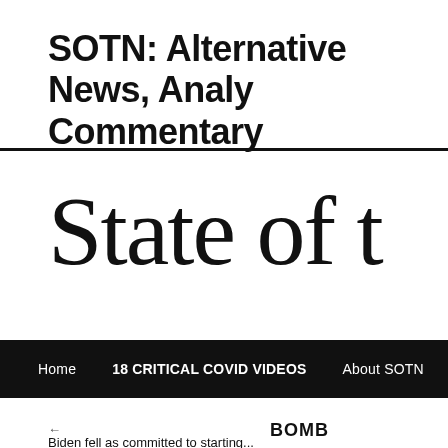SOTN: Alternative News, Analysis & Commentary
[Figure (logo): Large serif text reading 'State of' (partially visible, cut off at right edge)]
Home   18 CRITICAL COVID VIDEOS   About SOTN   Contact Us
← BOMB
Biden fell as committed to starting...